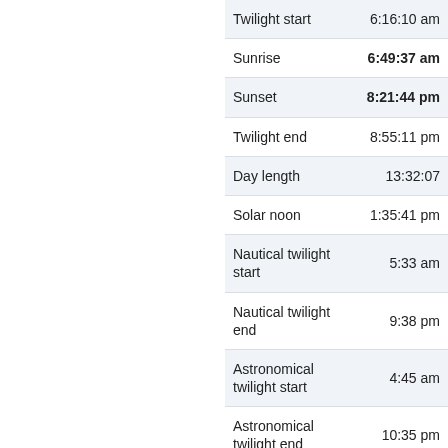| Event | Time |
| --- | --- |
| Twilight start | 6:16:10 am |
| Sunrise | 6:49:37 am |
| Sunset | 8:21:44 pm |
| Twilight end | 8:55:11 pm |
| Day length | 13:32:07 |
| Solar noon | 1:35:41 pm |
| Nautical twilight start | 5:33 am |
| Nautical twilight end | 9:38 pm |
| Astronomical twilight start | 4:45 am |
| Astronomical twilight end | 10:35 pm |